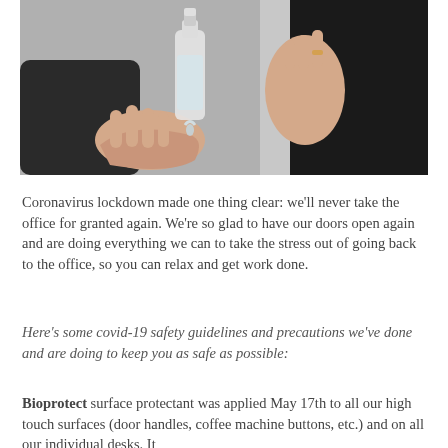[Figure (photo): Close-up photo of a person's hands using hand sanitizer from a clear bottle. The person is wearing a dark top and a ring on one hand. Background is light/grey.]
Coronavirus lockdown made one thing clear: we'll never take the office for granted again. We're so glad to have our doors open again and are doing everything we can to take the stress out of going back to the office, so you can relax and get work done.
Here's some covid-19 safety guidelines and precautions we've done and are doing to keep you as safe as possible:
Bioprotect surface protectant was applied May 17th to all our high touch surfaces (door handles, coffee machine buttons, etc.) and on all our individual desks. It